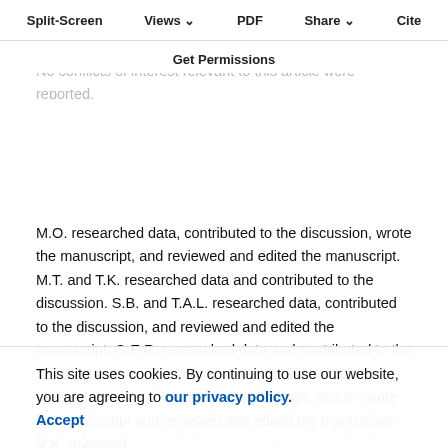Split-Screen  Views  PDF  Share  Cite  Get Permissions
No conflicts of interest relevant to this article were reported.
M.O. researched data, contributed to the discussion, wrote the manuscript, and reviewed and edited the manuscript. M.T. and T.K. researched data and contributed to the discussion. S.B. and T.A.L. researched data, contributed to the discussion, and reviewed and edited the manuscript. G.E.R. researched data and contributed to the discussion. K.M.M. and A.S. researched data. G.I.P. researched data and wrote the manuscript. W.J.E. wrote the manuscript and reviewed and edited the manuscript. R.K. reviewed and edited the manuscript. M.B.G. contributed to the discussion, wrote the manuscript, and reviewed and edited the manuscript. J.V.B. researched data, contributed to the discussion, wrote the manuscript and reviewed and edited
This site uses cookies. By continuing to use our website, you are agreeing to our privacy policy. Accept